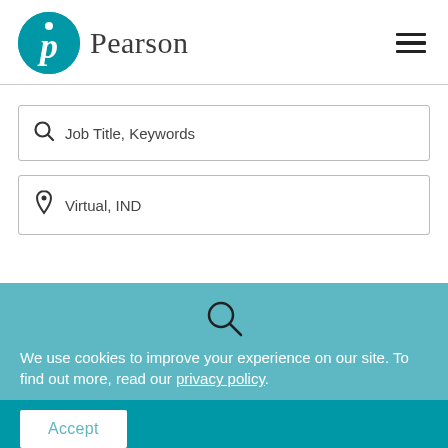[Figure (logo): Pearson logo with teal circle containing a stylized P and the word Pearson in serif font]
Job Title, Keywords
Virtual, IND
We use cookies to improve your experience on our site. To find out more, read our privacy policy.
Accept